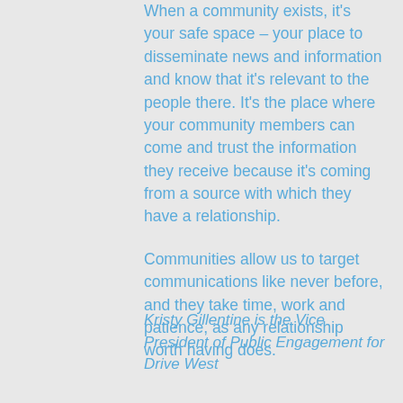When a community exists, it's your safe space – your place to disseminate news and information and know that it's relevant to the people there. It's the place where your community members can come and trust the information they receive because it's coming from a source with which they have a relationship.
Communities allow us to target communications like never before, and they take time, work and patience, as any relationship worth having does.
Kristy Gillentine is the Vice President of Public Engagement for Drive West